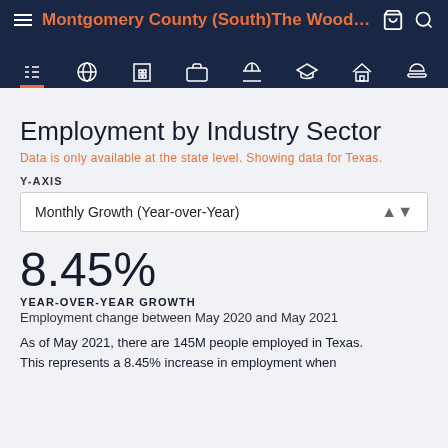Montgomery County (South)The Woodlan...
Employment by Industry Sector
Data is only available at the state level. Showing data for Texas.
Y-AXIS
Monthly Growth (Year-over-Year)
8.45%
YEAR-OVER-YEAR GROWTH
Employment change between May 2020 and May 2021
As of May 2021, there are 145M people employed in Texas. This represents a 8.45% increase in employment when